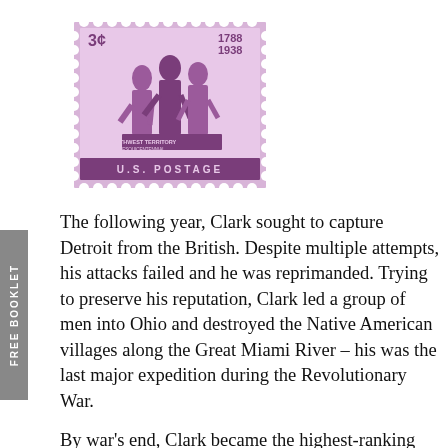[Figure (illustration): A purple US postage stamp showing three figures (Northwest Territory Sesquicentennial), labeled '3¢' in the top left and '1788 1938' in the top right, with 'U.S. POSTAGE' at the bottom.]
The following year, Clark sought to capture Detroit from the British. Despite multiple attempts, his attacks failed and he was reprimanded. Trying to preserve his reputation, Clark led a group of men into Ohio and destroyed the Native American villages along the Great Miami River – his was the last major expedition during the Revolutionary War.
By war's end, Clark became the highest-ranking military officer in the northwest. Many historians say that the reason the British gave the entire Northwest Territory to the United States in the 1783 Treaty of Paris was thanks to Clark's victories there – this earned him the nickname